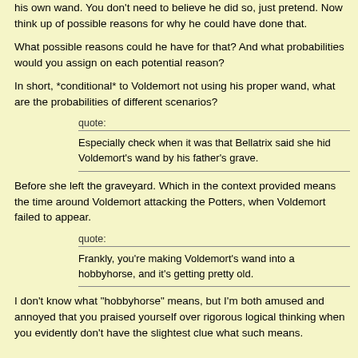his own wand. You don't need to believe he did so, just pretend. Now think up of possible reasons for why he could have done that.
What possible reasons could he have for that? And what probabilities would you assign on each potential reason?
In short, *conditional* to Voldemort not using his proper wand, what are the probabilities of different scenarios?
quote: Especially check when it was that Bellatrix said she hid Voldemort's wand by his father's grave.
Before she left the graveyard. Which in the context provided means the time around Voldemort attacking the Potters, when Voldemort failed to appear.
quote: Frankly, you're making Voldemort's wand into a hobbyhorse, and it's getting pretty old.
I don't know what "hobbyhorse" means, but I'm both amused and annoyed that you praised yourself over rigorous logical thinking when you evidently don't have the slightest clue what such means.